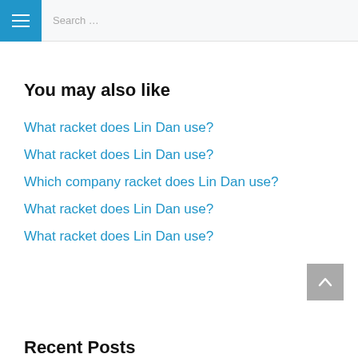Search …
You may also like
What racket does Lin Dan use?
What racket does Lin Dan use?
Which company racket does Lin Dan use?
What racket does Lin Dan use?
What racket does Lin Dan use?
Recent Posts